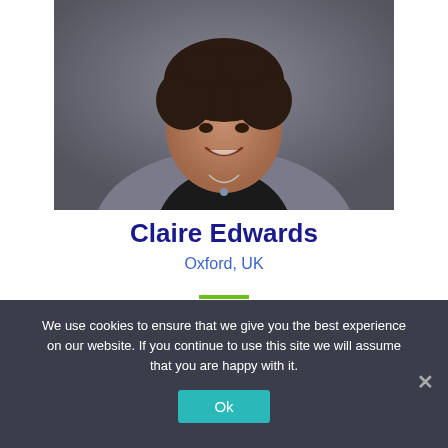[Figure (photo): Professional headshot photo of Claire Edwards, a woman with short curly dark hair, smiling, wearing a gray cardigan and black top with a necklace, against a gray background.]
Claire Edwards
Oxford, UK
We use cookies to ensure that we give you the best experience on our website. If you continue to use this site we will assume that you are happy with it.